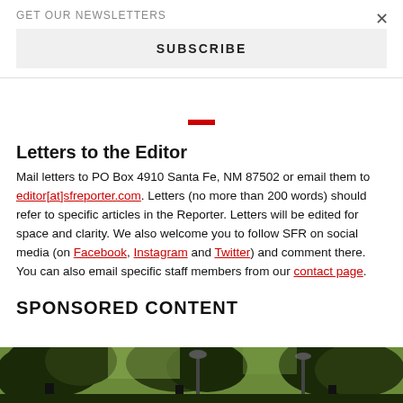GET OUR NEWSLETTERS
SUBSCRIBE
Letters to the Editor
Mail letters to PO Box 4910 Santa Fe, NM 87502 or email them to editor[at]sfreporter.com. Letters (no more than 200 words) should refer to specific articles in the Reporter. Letters will be edited for space and clarity. We also welcome you to follow SFR on social media (on Facebook, Instagram and Twitter) and comment there. You can also email specific staff members from our contact page.
SPONSORED CONTENT
[Figure (photo): Outdoor photo showing trees and a street lamp in what appears to be a park or plaza setting]